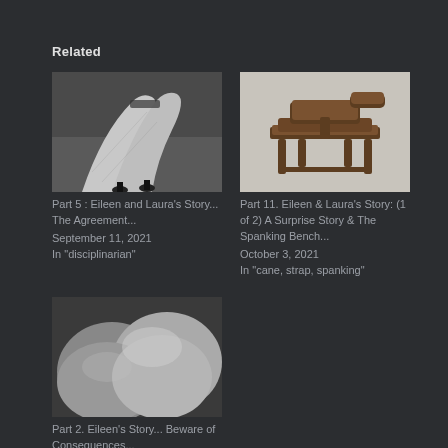Related
[Figure (photo): Black and white photo of a woman's legs in stockings and heels lying on a floor]
Part 5 : Eileen and Laura's Story... The Agreement...
September 11, 2021
In "disciplinarian"
[Figure (photo): Photo of a wooden spanking bench with adjustable components on a light background]
Part 11. Eileen & Laura's Story: (1 of 2) A Surprise Story & The Spanking Bench...
October 3, 2021
In "cane, strap, spanking"
[Figure (photo): Black and white close-up photo of rounded abstract shapes]
Part 2. Eileen's Story... Beware of Consequences...